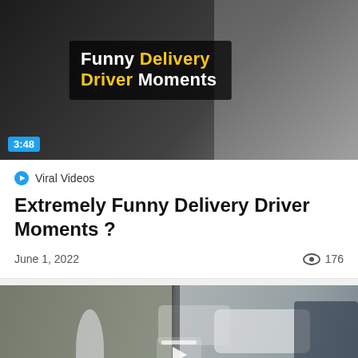[Figure (screenshot): Video thumbnail showing 'Funny Delivery Driver Moments' with dark background, packages, and text overlay. Duration badge shows 3:48 in blue.]
Viral Videos
Extremely Funny Delivery Driver Moments ?
June 1, 2022   176
[Figure (screenshot): Video thumbnail showing a person running on a street with cars in background. Play button icon visible in center.]